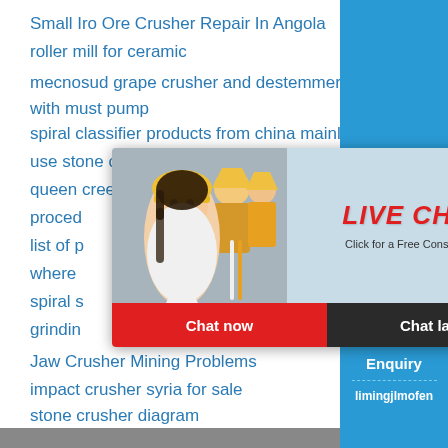Small Iro Ore Crusher Repair In Angola
roller mill for ceramic
mecnosud grape crusher and destemmer with must pump
spiral classifier products from china mainland
use stone crusher in usa
queen creek olive mill reviews
proced...
list of p...
where...
spiral s...
grindin...
Jaw Crusher Mining Problems
impact crusher syria for sale
stone crusher diagram
classification of diifferent types of g...
[Figure (screenshot): Live chat popup with photo of woman and workers in hard hats, red LIVE CHAT title, 'Click for a Free Consultation', Chat now and Chat later buttons]
[Figure (infographic): Right sidebar with blue background showing: hour online text, crusher machine image, Click me to chat>> button, Enquiry text, limingjlmofen text]